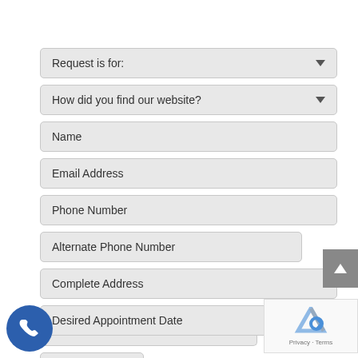[Figure (screenshot): Web form with dropdown fields and text input fields for a service request. Fields include: Request is for (dropdown), How did you find our website? (dropdown), Name, Email Address, Phone Number, Alternate Phone Number, Complete Address, Desired Appointment Date, Time. A scroll-up button appears on the right, a phone call button at bottom-left, and a reCAPTCHA widget at bottom-right.]